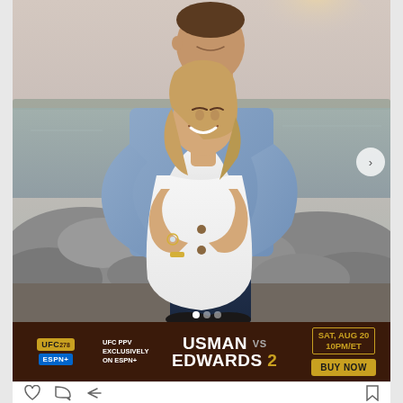[Figure (photo): Couple embracing outdoors near a rocky waterfront at sunset. A tall man in a blue button-up shirt hugs a smiling woman in a white dress from behind. She is laughing. Rocks and water visible in background.]
[Figure (infographic): UFC 278 advertisement banner: UFC PPV exclusively on ESPN+. USMAN vs EDWARDS 2. SAT, AUG 20 10PM/ET. BUY NOW button. Dark brown background with gold and white text.]